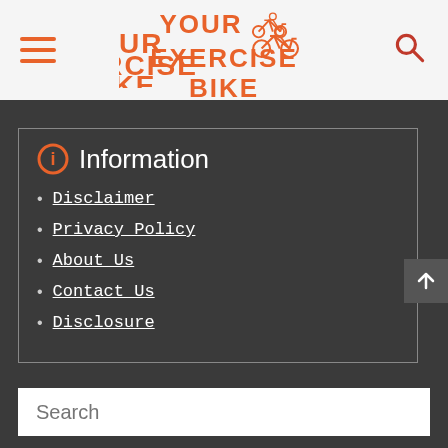YOUR EXERCISE BIKE
Information
Disclaimer
Privacy Policy
About Us
Contact Us
Disclosure
Search